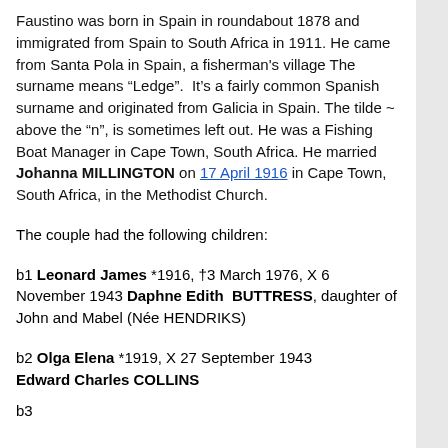Faustino was born in Spain in roundabout 1878 and immigrated from Spain to South Africa in 1911. He came from Santa Pola in Spain, a fisherman's village The surname means “Ledge”.  It’s a fairly common Spanish surname and originated from Galicia in Spain. The tilde ~ above the “n”, is sometimes left out. He was a Fishing Boat Manager in Cape Town, South Africa. He married Johanna MILLINGTON on 17 April 1916 in Cape Town, South Africa, in the Methodist Church.
The couple had the following children:
b1 Leonard James *1916, ’3 March 1976, X 6 November 1943 Daphne Edith BUTTRESS, daughter of John and Mabel (Née HENDRIKS)
b2 Olga Elena *1919, X 27 September 1943 Edward Charles COLLINS
b3 ...